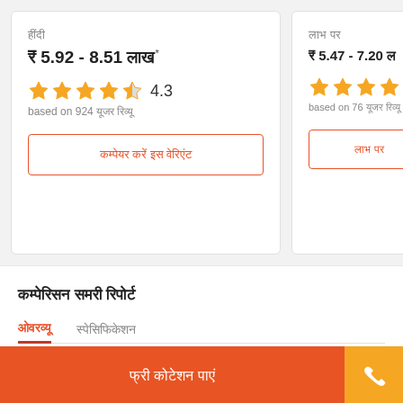हिंदी (Hindi product name card 1)
₹ 5.92 - 8.51 लाख*
[Figure (infographic): 4.3 star rating out of 5 shown with orange stars]
based on 924 यूजर रिव्यू
कम्पेयर करें इस वेरिएंट
लाभ पर (Hindi product name card 2)
₹ 5.47 - 7.20 लाख
[Figure (infographic): 4+ star rating shown with orange stars]
based on 76 यूजर रिव्यू
लाभ पर (button text)
कम्पेरिसन समरी रिपोर्ट
ओवरव्यू
स्पेसिफिकेशन
फ्री कोटेशन पाएं (footer button)
phone icon